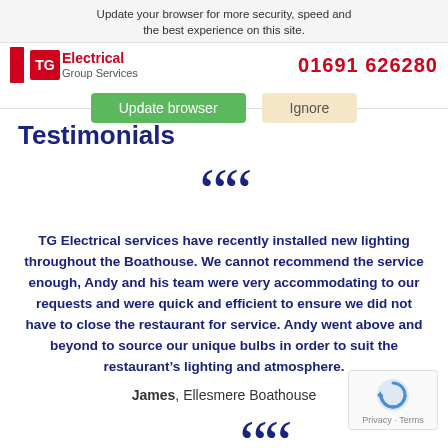Update your browser for more security, speed and the best experience on this site. Update browser | Ignore
Testimonials
““
TG Electrical services have recently installed new lighting throughout the Boathouse. We cannot recommend the service enough, Andy and his team were very accommodating to our requests and were quick and efficient to ensure we did not have to close the restaurant for service. Andy went above and beyond to source our unique bulbs in order to suit the restaurant’s lighting and atmosphere.
James, Ellesmere Boathouse
““